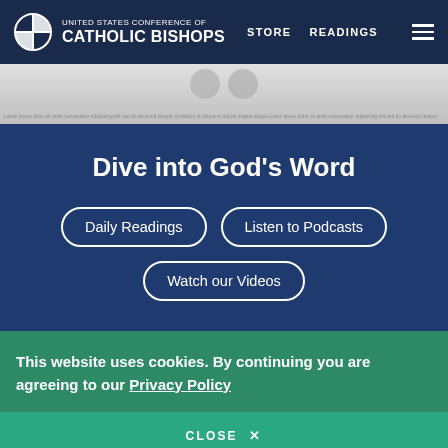United States Conference of Catholic Bishops | STORE | READINGS
[Figure (screenshot): Hero image area with gray background, circular profile images, and a repeating text band]
Dive into God's Word
Daily Readings
Listen to Podcasts
Watch our Videos
This website uses cookies. By continuing you are agreeing to our Privacy Policy
CLOSE X